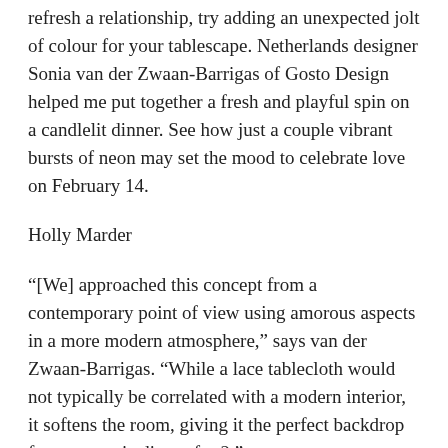refresh a relationship, try adding an unexpected jolt of colour for your tablescape. Netherlands designer Sonia van der Zwaan-Barrigas of Gosto Design helped me put together a fresh and playful spin on a candlelit dinner. See how just a couple vibrant bursts of neon may set the mood to celebrate love on February 14.
Holly Marder
“[We] approached this concept from a contemporary point of view using amorous aspects in a more modern atmosphere,” says van der Zwaan-Barrigas. “While a lace tablecloth would not typically be correlated with a modern interior, it softens the room, giving it the perfect backdrop for a romantic dinner for 2.”